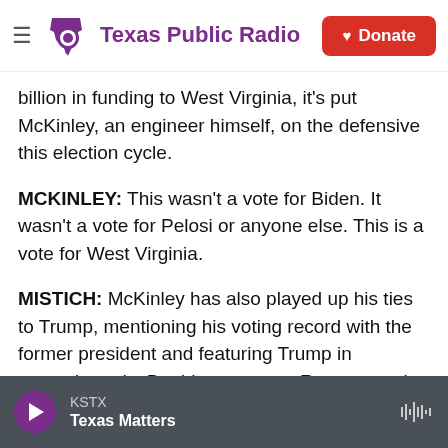Texas Public Radio | Donate
billion in funding to West Virginia, it's put McKinley, an engineer himself, on the defensive this election cycle.
MCKINLEY: This wasn't a vote for Biden. It wasn't a vote for Pelosi or anyone else. This is a vote for West Virginia.
MISTICH: McKinley has also played up his ties to Trump, mentioning his voting record with the former president and featuring Trump in campaign ads. But his opponent, Representative Alex Mooney, a Maryland native who first won in West Virginia in 2014, has one thing that McKinley
KSTX  Texas Matters